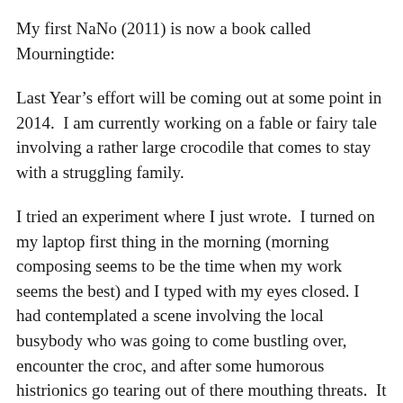My first NaNo (2011) is now a book called Mourningtide:
Last Year’s effort will be coming out at some point in 2014.  I am currently working on a fable or fairy tale involving a rather large crocodile that comes to stay with a struggling family.
I tried an experiment where I just wrote.  I turned on my laptop first thing in the morning (morning composing seems to be the time when my work seems the best) and I typed with my eyes closed. I had contemplated a scene involving the local busybody who was going to come bustling over, encounter the croc, and after some humorous histrionics go tearing out of there mouthing threats.  It came out nothing like that.  It was, in fact, rather moving to see where the story went and how it went.  And